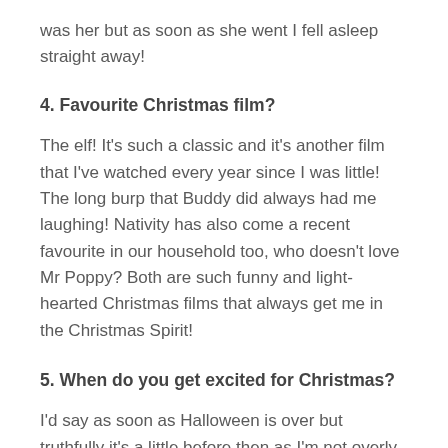was her but as soon as she went I fell asleep straight away!
4. Favourite Christmas film?
The elf! It's such a classic and it's another film that I've watched every year since I was little! The long burp that Buddy did always had me laughing! Nativity has also come a recent favourite in our household too, who doesn't love Mr Poppy? Both are such funny and light-hearted Christmas films that always get me in the Christmas Spirit!
5. When do you get excited for Christmas?
I'd say as soon as Halloween is over but truthfully it's a little before then as I'm not overly celebratory of